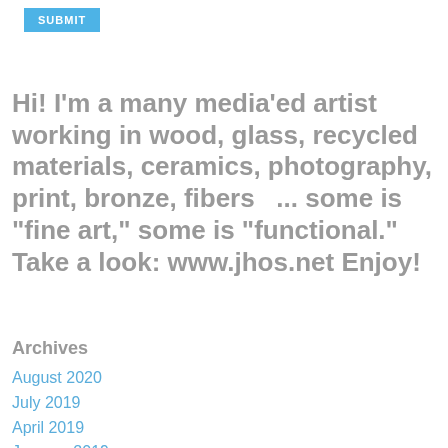[Figure (other): Blue SUBMIT button at top left]
Hi! I'm a many media'ed artist working in wood, glass, recycled materials, ceramics, photography, print, bronze, fibers  ... some is "fine art," some is "functional." Take a look: www.jhos.net Enjoy!
Archives
August 2020
July 2019
April 2019
January 2019
October 2018
November 2017
June 2017
May 2017